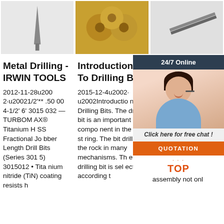[Figure (photo): Three product images showing drill bits at the top of the page]
Metal Drilling - IRWIN TOOLS
Introduction To Drilling Bits
Types Of Drilling Bits - When To Use Them - When It
2012-11-28u2002·u20021/2'** .5000 4-1/2' 6' 3015032 — TURBOM AX® Titanium HSS Fractional Jobber Length Drill Bits (Series 3015) 3015012 • Titanium nitride (TiN) coating resists h
2015-12-4u2002·u2002Introduction to Drilling Bits. The drill bit is an important component in the drill string. The bit drills the rock in many mechanisms. The drilling bit is selected according to
2021-u20022006-u2002nside an impact driver spins the drill bit while the hammer and anvil assembly not only forces it down
[Figure (screenshot): 24/7 Online chat widget overlay with photo of a woman wearing a headset, 'Click here for free chat!' text, and QUOTATION button in orange]